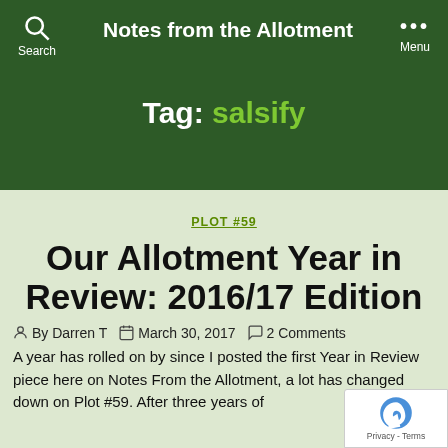Notes from the Allotment
Tag: salsify
PLOT #59
Our Allotment Year in Review: 2016/17 Edition
By Darren T   March 30, 2017   2 Comments
A year has rolled on by since I posted the first Year in Review piece here on Notes From the Allotment, a lot has changed down on Plot #59. After three years of